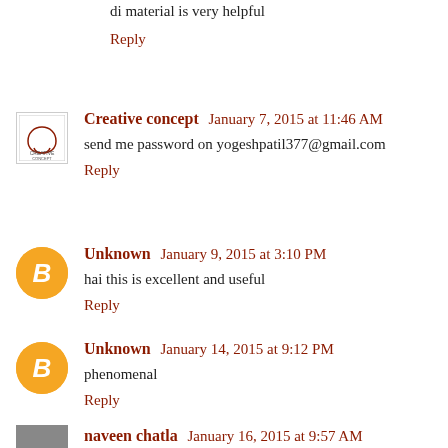di material is very helpful
Reply
Creative concept  January 7, 2015 at 11:46 AM
send me password on yogeshpatil377@gmail.com
Reply
Unknown  January 9, 2015 at 3:10 PM
hai this is excellent and useful
Reply
Unknown  January 14, 2015 at 9:12 PM
phenomenal
Reply
naveen chatla  January 16, 2015 at 9:57 AM